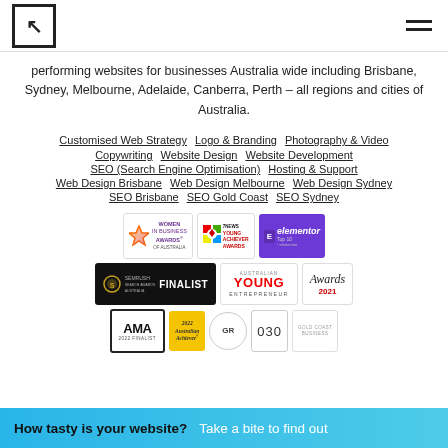performing websites for businesses Australia wide including Brisbane, Sydney, Melbourne, Adelaide, Canberra, Perth – all regions and cities of Australia.
Customised Web Strategy
Logo & Branding
Photography & Video
Copywriting
Website Design
Website Development
SEO (Search Engine Optimisation)
Hosting & Support
Web Design Brisbane
Web Design Melbourne
Web Design Sydney
SEO Brisbane
SEO Gold Coast
SEO Sydney
[Figure (logo): Women in Business Awards of Australia logo]
[Figure (logo): 7News Young Achiever Awards logo]
[Figure (logo): Elementor Top 10 logo]
[Figure (logo): SEMrush Search Awards Australia - FINALIST]
[Figure (logo): Australian Young Entrepreneur logo]
[Figure (logo): Awards 2021 logo]
[Figure (logo): AMA 2022 Finalist logo]
[Figure (logo): 2022 Australian Achiever logo]
[Figure (logo): GR logo circle]
[Figure (logo): 030 logo]
[Figure (logo): Gold Coast Business logo]
How tasty is your website? Take a bite to find out